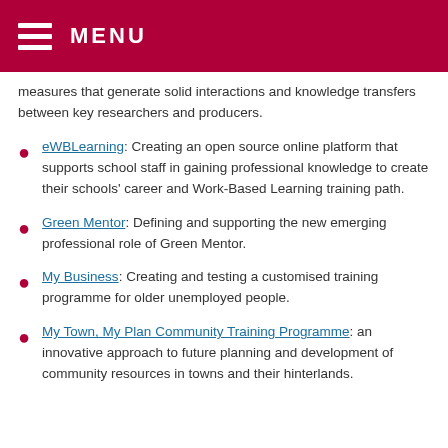MENU
measures that generate solid interactions and knowledge transfers between key researchers and producers.
eWBLearning: Creating an open source online platform that supports school staff in gaining professional knowledge to create their schools' career and Work-Based Learning training path.
Green Mentor: Defining and supporting the new emerging professional role of Green Mentor.
My Business: Creating and testing a customised training programme for older unemployed people.
My Town, My Plan Community Training Programme: an innovative approach to future planning and development of community resources in towns and their hinterlands.